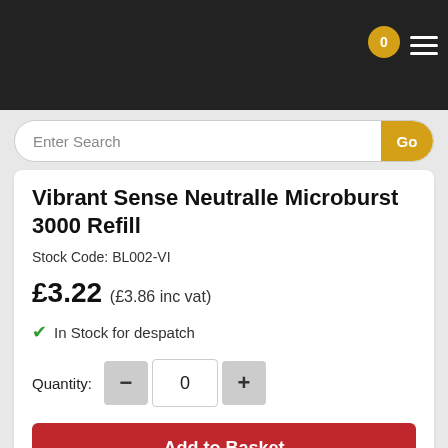0
Enter Search
Vibrant Sense Neutralle Microburst 3000 Refill
Stock Code: BL002-VI
£3.22 (£3.86 inc vat)
In Stock for despatch
Quantity: 0
Add to Basket
Add to Quote
Descriptions